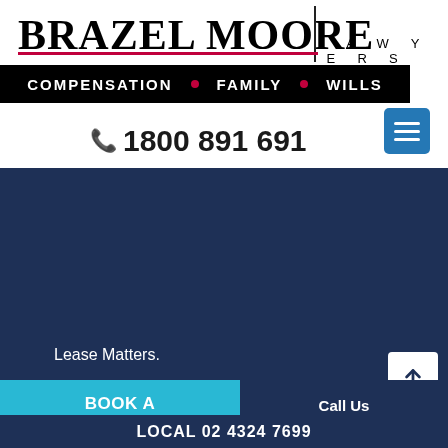BRAZEL MOORE LAWYERS
COMPENSATION • FAMILY • WILLS
1800 891 691
Lease Matters.
Advice on Retirement Villages and Nursing Homes.
FAMILY LAW
Childrens Matters
BOOK A CONSULTATION
Call Us
1800 891 691
LOCAL 02 4324 7699